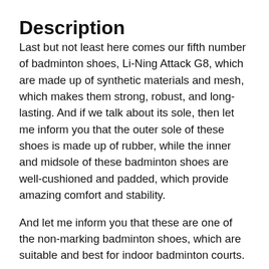Description
Last but not least here comes our fifth number of badminton shoes, Li-Ning Attack G8, which are made up of synthetic materials and mesh, which makes them strong, robust, and long-lasting. And if we talk about its sole, then let me inform you that the outer sole of these shoes is made up of rubber, while the inner and midsole of these badminton shoes are well-cushioned and padded, which provide amazing comfort and stability.
And let me inform you that these are one of the non-marking badminton shoes, which are suitable and best for indoor badminton courts.